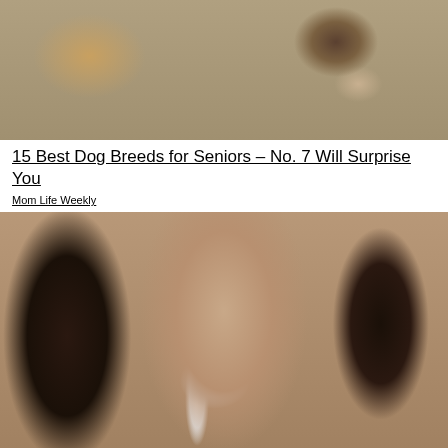[Figure (photo): Photo of a dog, appears to be a Yorkshire Terrier or similar small breed, on a carpet or rug]
15 Best Dog Breeds for Seniors – No. 7 Will Surprise You
Mom Life Weekly
[Figure (photo): Close-up photo of a woman with dark hair applying something to her nose with a toothbrush]
Removing Moles & Skin Tags Has Never Been This Easy